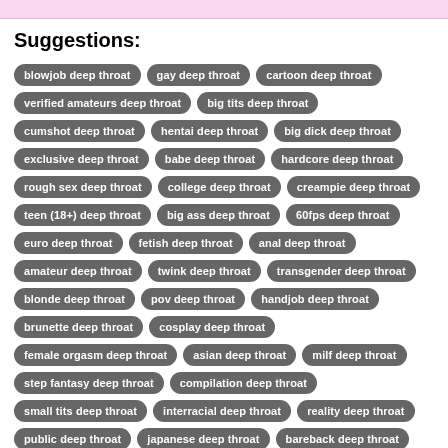Suggestions:
blowjob deep throat
gay deep throat
cartoon deep throat
verified amateurs deep throat
big tits deep throat
cumshot deep throat
hentai deep throat
big dick deep throat
exclusive deep throat
babe deep throat
hardcore deep throat
rough sex deep throat
college deep throat
creampie deep throat
teen (18+) deep throat
big ass deep throat
60fps deep throat
euro deep throat
fetish deep throat
anal deep throat
amateur deep throat
twink deep throat
transgender deep throat
blonde deep throat
pov deep throat
handjob deep throat
brunette deep throat
cosplay deep throat
female orgasm deep throat
asian deep throat
milf deep throat
step fantasy deep throat
compilation deep throat
small tits deep throat
interracial deep throat
reality deep throat
public deep throat
japanese deep throat
bareback deep throat
solo female deep throat
uncut deep throat
role play deep throat